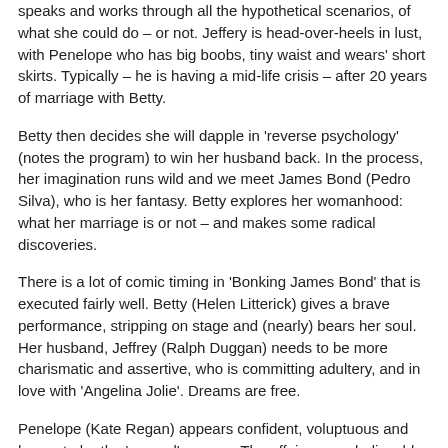speaks and works through all the hypothetical scenarios, of what she could do – or not. Jeffery is head-over-heels in lust, with Penelope who has big boobs, tiny waist and wears' short skirts. Typically – he is having a mid-life crisis – after 20 years of marriage with Betty.
Betty then decides she will dapple in 'reverse psychology' (notes the program) to win her husband back. In the process, her imagination runs wild and we meet James Bond (Pedro Silva), who is her fantasy. Betty explores her womanhood: what her marriage is or not – and makes some radical discoveries.
There is a lot of comic timing in 'Bonking James Bond' that is executed fairly well. Betty (Helen Litterick) gives a brave performance, stripping on stage and (nearly) bears her soul.
Her husband, Jeffrey (Ralph Duggan) needs to be more charismatic and assertive, who is committing adultery, and in love with 'Angelina Jolie'. Dreams are free.
Penelope (Kate Regan) appears confident, voluptuous and happy to be the 'second' woman. The affair was unbelievable: the connection was